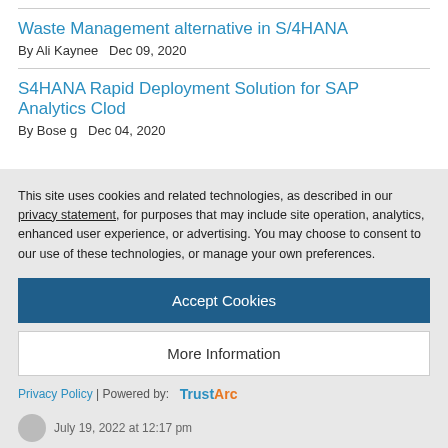Waste Management alternative in S/4HANA
By Ali Kaynee   Dec 09, 2020
S4HANA Rapid Deployment Solution for SAP Analytics Clod
By Bose g   Dec 04, 2020
This site uses cookies and related technologies, as described in our privacy statement, for purposes that may include site operation, analytics, enhanced user experience, or advertising. You may choose to consent to our use of these technologies, or manage your own preferences.
Accept Cookies
More Information
Privacy Policy | Powered by: TrustArc
July 19, 2022 at 12:17 pm